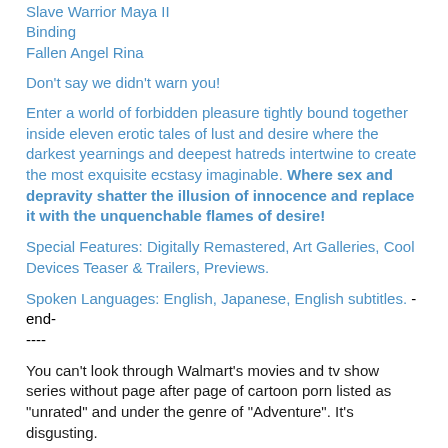Slave Warrior Maya II
Binding
Fallen Angel Rina
Don't say we didn't warn you!
Enter a world of forbidden pleasure tightly bound together inside eleven erotic tales of lust and desire where the darkest yearnings and deepest hatreds intertwine to create the most exquisite ecstasy imaginable. Where sex and depravity shatter the illusion of innocence and replace it with the unquenchable flames of desire!
Special Features: Digitally Remastered, Art Galleries, Cool Devices Teaser & Trailers, Previews.
Spoken Languages: English, Japanese, English subtitles. -end- ----
You can't look through Walmart's movies and tv show series without page after page of cartoon porn listed as "unrated" and under the genre of "Adventure". It's disgusting.